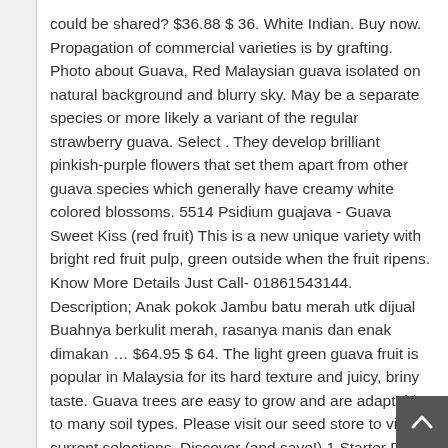could be shared? $36.88 $ 36. White Indian. Buy now. Propagation of commercial varieties is by grafting. Photo about Guava, Red Malaysian guava isolated on natural background and blurry sky. May be a separate species or more likely a variant of the regular strawberry guava. Select . They develop brilliant pinkish-purple flowers that set them apart from other guava species which generally have creamy white colored blossoms. 5514 Psidium guajava - Guava Sweet Kiss (red fruit) This is a new unique variety with bright red fruit pulp, green outside when the fruit ripens. Know More Details Just Call- 01861543144. Description; Anak pokok Jambu batu merah utk dijual Buahnya berkulit merah, rasanya manis dan enak dimakan … $64.95 $ 64. The light green guava fruit is popular in Malaysia for its hard texture and juicy, briny taste. Guava trees are easy to grow and are adaptable to many soil types. Please visit our seed store to view current selections. Discover (and save!) 1 Starter Plant - Vietnamese Guava - 1 Feet Tall - Ship in 6" Pot - Fruit Live Plant. Share this: Twitter; Facebook; Description Reviews (0) Description. The tree will grow to about 8 to 12 feet, but can easi be clipped shorter if space is a premium, giving you many...